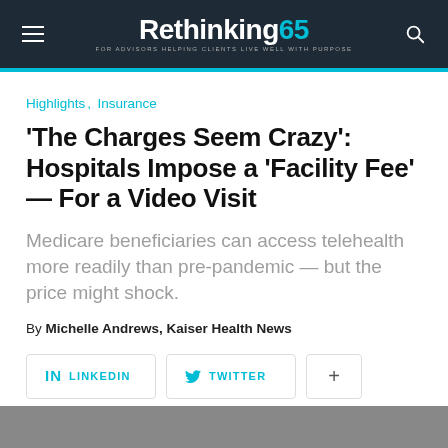Rethinking65 — FOR ADVISORS HELPING CLIENTS LIVE WELL WITH PURPOSE
Highlights, Insurance
'The Charges Seem Crazy': Hospitals Impose a 'Facility Fee' — For a Video Visit
Medicare beneficiaries can access telehealth more readily than pre-pandemic — but the price might shock.
By Michelle Andrews, Kaiser Health News
Linkedin   Twitter   +